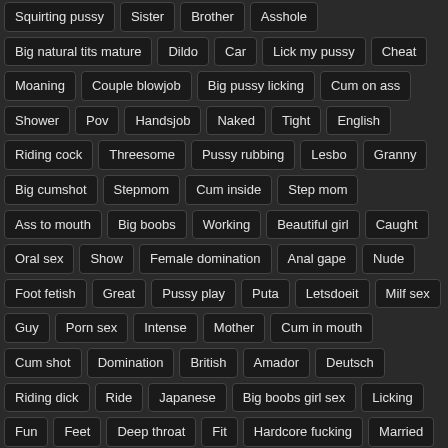Squirting pussy
Sister
Brother
Asshole
Big natural tits mature
Dildo
Car
Lick my pussy
Cheat
Moaning
Couple blowjob
Big pussy licking
Cum on ass
Shower
Pov
Handsjob
Naked
Tight
English
Riding cock
Threesome
Pussy rubbing
Lesbo
Granny
Big cumshot
Stepmom
Cum inside
Step mom
Ass to mouth
Big boobs
Working
Beautiful girl
Caught
Oral sex
Show
Female domination
Anal gape
Nude
Foot fetish
Great
Pussy play
Puta
Letsdoeit
Milf sex
Guy
Porn sex
Intense
Mother
Cum in mouth
Cum shot
Domination
British
Amador
Deutsch
Riding dick
Ride
Japanese
Big boobs girl sex
Licking
Fun
Feet
Deep throat
Fit
Hardcore fucking
Married
Cum in tits
New anal
New milf
Real orgasm